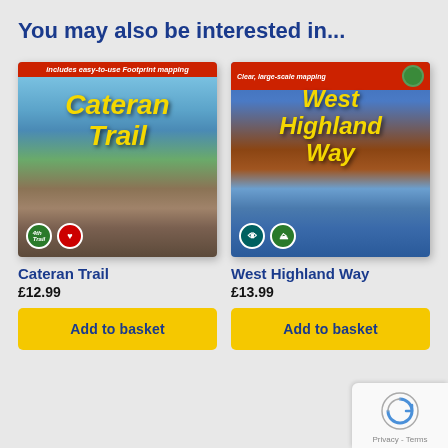You may also be interested in...
[Figure (photo): Book cover for Cateran Trail guidebook showing a lake scene with trees and moorland, red banner at top, yellow italic title text]
Cateran Trail
£12.99
[Figure (photo): Book cover for West Highland Way guidebook showing a mountain reflected in a lake, red banner at top, yellow italic title text]
West Highland Way
£13.99